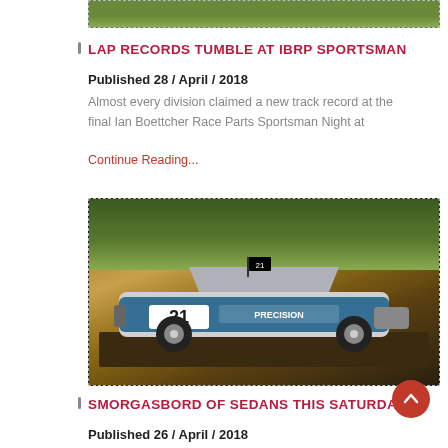[Figure (photo): Top cropped photo showing grass/ground from a race track]
LAP RECORDS TUMBLE AT IBRP SPORTSMAN
Published 28 / April / 2018
Almost every division claimed a new track record at the final Ian Boettcher Race Parts Sportsman Night at
Continue Reading...
[Figure (photo): Race car number 21 with Precision sponsorship on a dirt track, surrounded by spectators]
SMORGASBORD OF SEDANS THIS SATURDAY
Published 26 / April / 2018